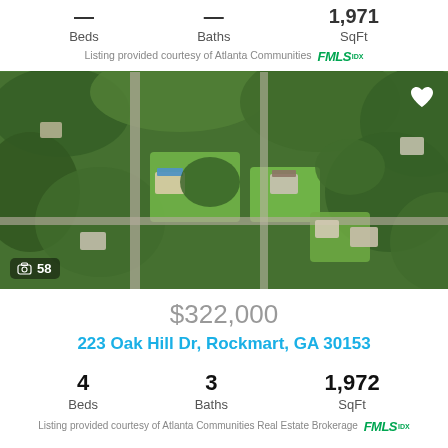Beds  Baths  SqFt (top property stats)
Listing provided courtesy of Atlanta Communities FMLS IDX
[Figure (photo): Aerial drone photo of a suburban neighborhood with trees, houses, green lawns, and roads. Photo counter shows 58 images.]
$322,000
223 Oak Hill Dr, Rockmart, GA 30153
4 Beds  3 Baths  1,972 SqFt
Listing provided courtesy of Atlanta Communities Real Estate Brokerage FMLS IDX